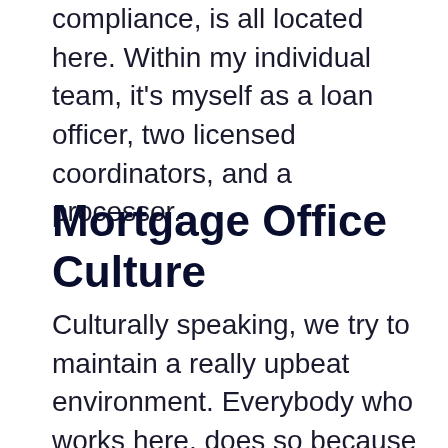compliance, is all located here. Within my individual team, it's myself as a loan officer, two licensed coordinators, and a processor.
Mortgage Office Culture
Culturally speaking, we try to maintain a really upbeat environment. Everybody who works here, does so because they want to and they like the company and the culture and the people they work